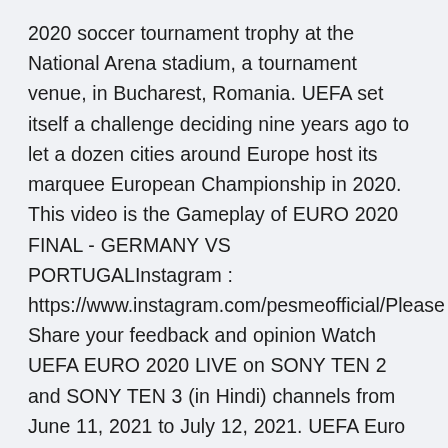2020 soccer tournament trophy at the National Arena stadium, a tournament venue, in Bucharest, Romania. UEFA set itself a challenge deciding nine years ago to let a dozen cities around Europe host its marquee European Championship in 2020. This video is the Gameplay of EURO 2020 FINAL - GERMANY VS PORTUGALInstagram : https://www.instagram.com/pesmeofficial/Please Share your feedback and opinion Watch UEFA EURO 2020 LIVE on SONY TEN 2 and SONY TEN 3 (in Hindi) channels from June 11, 2021 to July 12, 2021. UEFA Euro 2020 LIVE – The Coneders. Portugal – The current holders and inaugural UEFA Nations League winners have progressed from the EURO group stage on all seven occasions. UEFA held a videoconference on 17 March 2020 with representatives of its 55 member